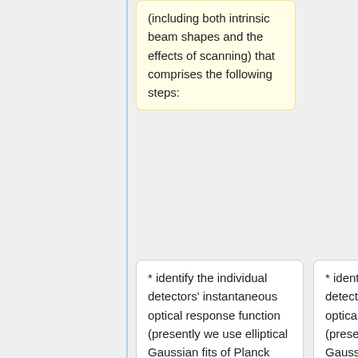(including both intrinsic beam shapes and the effects of scanning) that comprises the following steps:
* identify the individual detectors' instantaneous optical response function (presently we use elliptical Gaussian fits of Planck beams from observations of planets; eventually, an arbitrary mathematical
* identify the individual detectors' instantaneous optical response function (presently we use elliptical Gaussian fits of Planck beams from observations of planets; eventually, an arbitrary mathematical